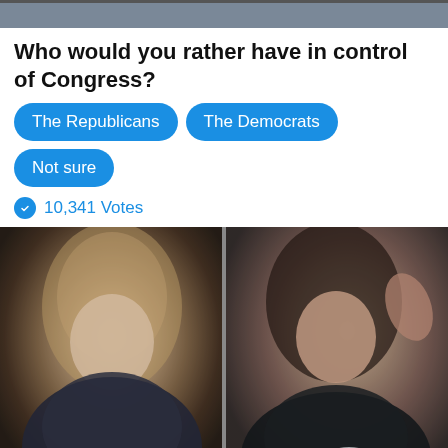[Figure (photo): Partial top portion of a photo, likely showing political figures, cropped at top of page]
Who would you rather have in control of Congress?
The Republicans
The Democrats
Not sure
10,341 Votes
[Figure (photo): Side-by-side photos: Hillary Clinton (left) smiling in dark jacket, Kamala Harris (right) waving and smiling in dark blazer]
Was our country doing better when Donald Trump was in the White House?